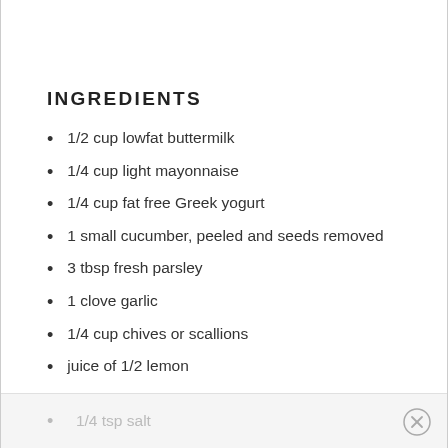INGREDIENTS
1/2 cup lowfat buttermilk
1/4 cup light mayonnaise
1/4 cup fat free Greek yogurt
1 small cucumber, peeled and seeds removed
3 tbsp fresh parsley
1 clove garlic
1/4 cup chives or scallions
juice of 1/2 lemon
1/8 tsp garlic powder
1/4 tsp fresh ground pepper
1/4 tsp salt